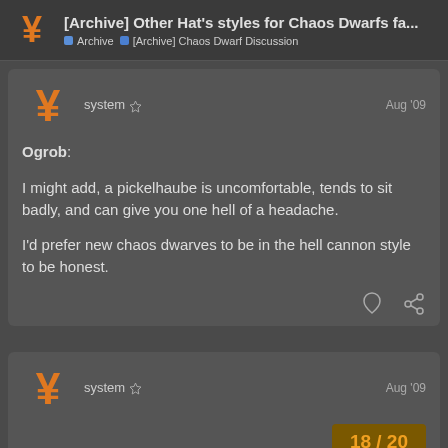[Archive] Other Hat's styles for Chaos Dwarfs fa... | Archive | [Archive] Chaos Dwarf Discussion
system | Aug '09
Ogrob:
I might add, a pickelhaube is uncomfortable, tends to sit badly, and can give you one hell of a headache.

I'd prefer new chaos dwarves to be in the hell cannon style to be honest.
system | Aug '09
18 / 20